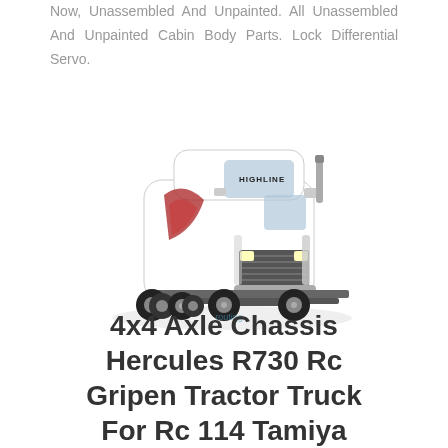Now, Unassembled And Unpainted. All Unassembled And Unpainted Cabin Body Parts. Lock Differential Servo.
[Figure (photo): Photo of a white Scania Highline R730 model RC truck tractor with decorative graphics on the cab, shown from a front-left angle on a white background.]
4x4 Axle Chassis Hercules R730 Rc Gripen Tractor Truck For Rc 114 Tamiya